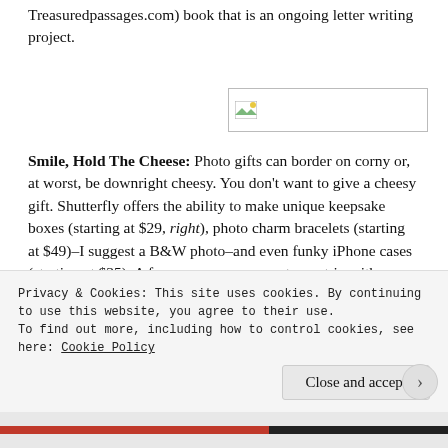Treasuredpassages.com) book that is an ongoing letter writing project.
[Figure (photo): Small image placeholder with broken image icon]
Smile, Hold The Cheese: Photo gifts can border on corny or, at worst, be downright cheesy. You don't want to give a cheesy gift. Shutterfly offers the ability to make unique keepsake boxes (starting at $29, right), photo charm bracelets (starting at $49)–I suggest a B&W photo–and even funky iPhone cases (starting at $35). A few years ago we went on a trip with my mother-in-law, both mom and grandma in our house, and later
Privacy & Cookies: This site uses cookies. By continuing to use this website, you agree to their use.
To find out more, including how to control cookies, see here: Cookie Policy
Close and accept